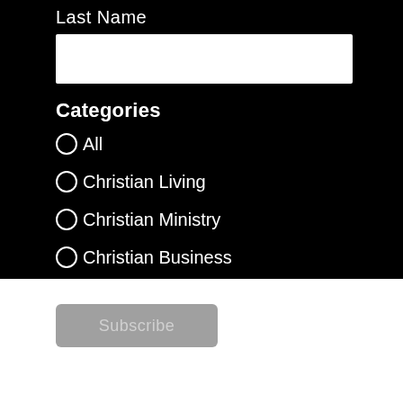Last Name
[Figure (other): Text input field for Last Name, white rectangle on black background]
Categories
All
Christian Living
Christian Ministry
Christian Business
Subscribe